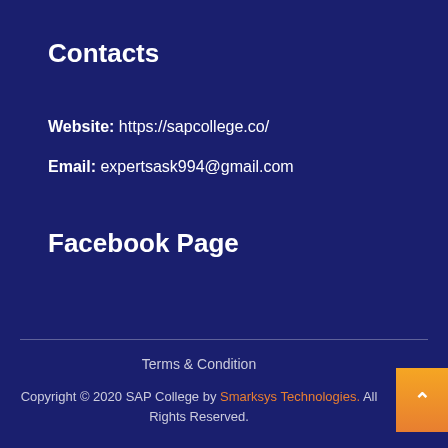Contacts
Website: https://sapcollege.co/
Email: expertsask994@gmail.com
Facebook Page
Terms & Condition
Copyright © 2020 SAP College by Smarksys Technologies. All Rights Reserved.